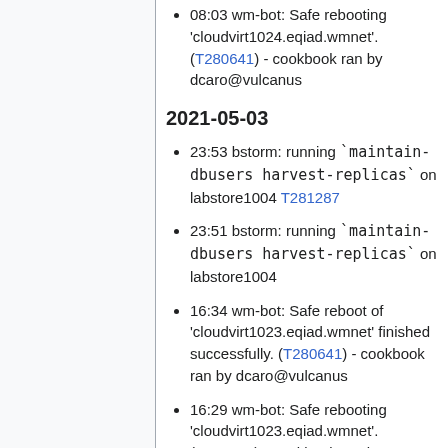08:03 wm-bot: Safe rebooting 'cloudvirt1024.eqiad.wmnet'. (T280641) - cookbook ran by dcaro@vulcanus
2021-05-03
23:53 bstorm: running `maintain-dbusers harvest-replicas` on labstore1004 T281287
23:51 bstorm: running `maintain-dbusers harvest-replicas` on labstore1004
16:34 wm-bot: Safe reboot of 'cloudvirt1023.eqiad.wmnet' finished successfully. (T280641) - cookbook ran by dcaro@vulcanus
16:29 wm-bot: Safe rebooting 'cloudvirt1023.eqiad.wmnet'. (T280641) - cookbook ran by dcaro@vulcanus